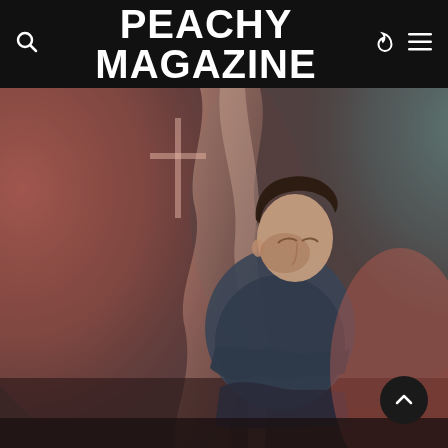PEACHY MAGAZINE
[Figure (photo): Young man with dark hair sitting on a floor against a draped white fabric backdrop lit with warm pink/orange light on the left and cool teal/green light on the right. He is wearing a denim jacket and looking upward. A cross shape is faintly visible in the background through the fabric.]